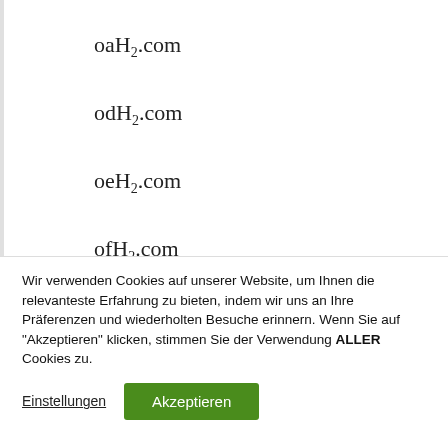oaH2.com
odH2.com
oeH2.com
ofH2.com
oiH2.com
Wir verwenden Cookies auf unserer Website, um Ihnen die relevanteste Erfahrung zu bieten, indem wir uns an Ihre Präferenzen und wiederholten Besuche erinnern. Wenn Sie auf "Akzeptieren" klicken, stimmen Sie der Verwendung ALLER Cookies zu.
Einstellungen
Akzeptieren